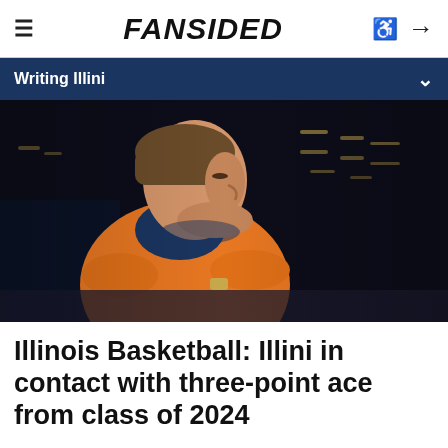≡  FANSIDED  ♿ →
Writing Illini
[Figure (photo): A basketball coach wearing an orange Illinois jacket with arms crossed, viewed from the side in profile. The background shows a dark arena with blurred lights.]
Illinois Basketball: Illini in contact with three-point ace from class of 2024